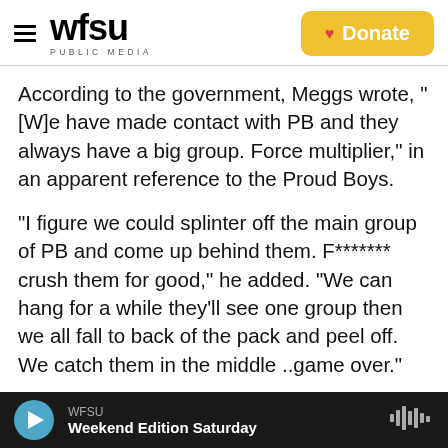WFSU PUBLIC MEDIA | Donate
According to the government, Meggs wrote, "[W]e have made contact with PB and they always have a big group. Force multiplier," in an apparent reference to the Proud Boys.
"I figure we could splinter off the main group of PB and come up behind them. F******* crush them for good," he added. "We can hang for a while they'll see one group then we all fall to back of the pack and peel off. We catch them in the middle ..game over."
The government cited another Facebook message
WFSU | Weekend Edition Saturday